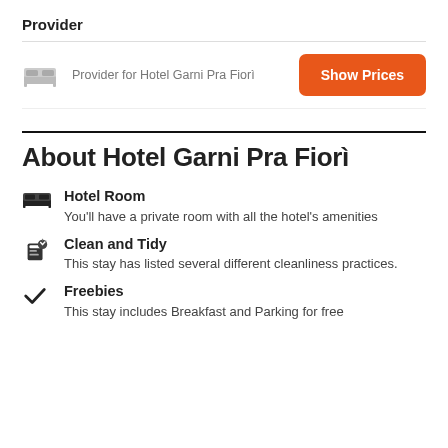Provider
Provider for Hotel Garni Pra Fiorì
Show Prices
About Hotel Garni Pra Fiorì
Hotel Room — You'll have a private room with all the hotel's amenities
Clean and Tidy — This stay has listed several different cleanliness practices.
Freebies — This stay includes Breakfast and Parking for free